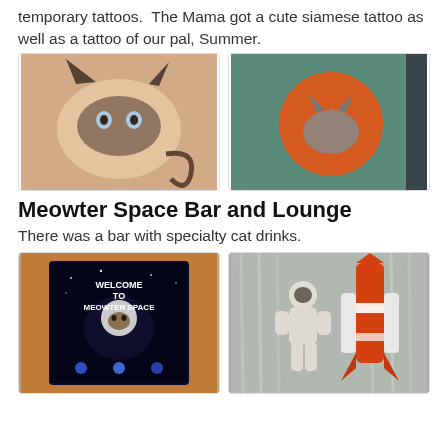temporary tattoos. The Mama got a cute siamese tattoo as well as a tattoo of our pal, Summer.
[Figure (photo): Two photos of temporary tattoos on skin. Left: a cartoon siamese cat face tattoo with blue eyes and dark ears. Right: a cat silhouette tattoo on an orange/red circular background.]
Meowter Space Bar and Lounge
There was a bar with specialty cat drinks.
[Figure (photo): Two photos. Left: a sign reading 'WELCOME TO MEOWTER SPACE' with a space cat image. Right: an astronaut figure with orange rocket/space shuttle decoration against silver tinsel backdrop.]